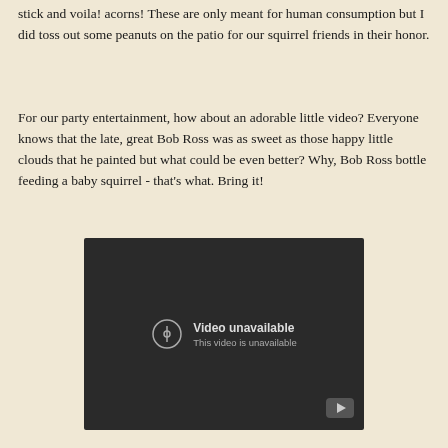stick and voila! acorns! These are only meant for human consumption but I did toss out some peanuts on the patio for our squirrel friends in their honor.
For our party entertainment, how about an adorable little video? Everyone knows that the late, great Bob Ross was as sweet as those happy little clouds that he painted but what could be even better? Why, Bob Ross bottle feeding a baby squirrel - that's what. Bring it!
[Figure (screenshot): Embedded video player showing 'Video unavailable. This video is unavailable.' message on a dark background with a YouTube play button in the bottom right corner.]